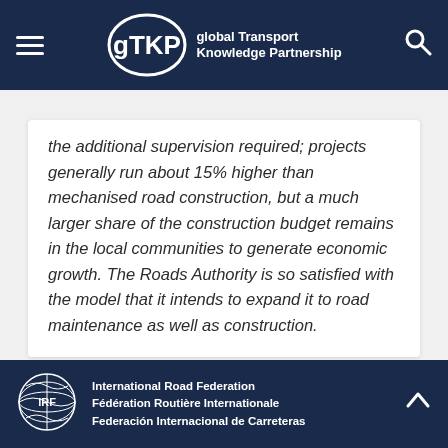gTKP global Transport Knowledge Partnership
the additional supervision required; projects generally run about 15% higher than mechanised road construction, but a much larger share of the construction budget remains in the local communities to generate economic growth. The Roads Authority is so satisfied with the model that it intends to expand it to road maintenance as well as construction.
International Road Federation Fédération Routière Internationale Federación Internacional de Carreteras